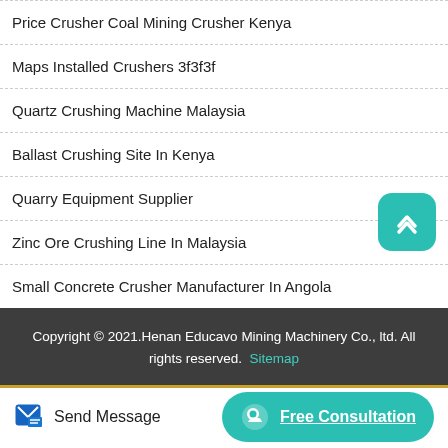Price Crusher Coal Mining Crusher Kenya
Maps Installed Crushers 3f3f3f
Quartz Crushing Machine Malaysia
Ballast Crushing Site In Kenya
Quarry Equipment Supplier
Zinc Ore Crushing Line In Malaysia
Small Concrete Crusher Manufacturer In Angola
Copyright © 2021.Henan Educavo Mining Machinery Co., ltd. All rights reserved. Sitemap
Send Message
Free Consultation